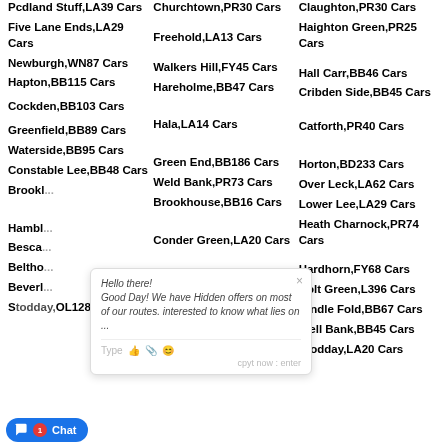Pcdland Stuff,LA39 Cars
Five Lane Ends,LA29 Cars
Newburgh,WN87 Cars
Hapton,BB115 Cars
Cockden,BB103 Cars
Greenfield,BB89 Cars
Waterside,BB95 Cars
Constable Lee,BB48 Cars
Brookhouse,BB Cars
Hambleton Cars
Bescaby Cars
Belthorn Cars
Beverly Cars
Stodday,OL128 Cars
Churchtown,PR30 Cars
Freehold,LA13 Cars
Walkers Hill,FY45 Cars
Hareholme,BB47 Cars
Hala,LA14 Cars
Green End,BB186 Cars
Weld Bank,PR73 Cars
Brookhouse,BB16 Cars
Conder Green,LA20 Cars
Hare Runs,LA12 Cars
Birch Hall,BB30 Cars
Birkacre,PR73 Cars
Over Kellet,LA61 Cars
Royal Oak,L390 Cars
Claughton,PR30 Cars
Haighton Green,PR25 Cars
Hall Carr,BB46 Cars
Cribden Side,BB45 Cars
Catforth,PR40 Cars
Horton,BD233 Cars
Over Leck,LA62 Cars
Lower Lee,LA29 Cars
Heath Charnock,PR74 Cars
Hardhorn,FY68 Cars
Holt Green,L396 Cars
Hindle Fold,BB67 Cars
Well Bank,BB45 Cars
Stodday,LA20 Cars